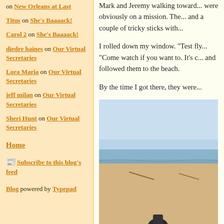on New Orleans at Last
Titus on She's Baaaack!
Carol 2 on She's Baaaack!
diedre haines on Our Virtual Secretaries
Lora Maria on Our Virtual Secretaries
jeff milan on Our Virtual Secretaries
Sheri Hunt on Our Virtual Secretaries
Home
Subscribe to this blog's feed
Blog powered by Typepad
Mark and Jeremy walking toward... were obviously on a mission. The... and a couple of tricky sticks with...
I rolled down my window. "Test fly... "Come watch if you want to. It's c... and followed them to the beach.
By the time I got there, they were...
[Figure (photo): Photo of a beach scene with sand, sea, and a person visible at bottom, taken on a sunny day with blue sky]